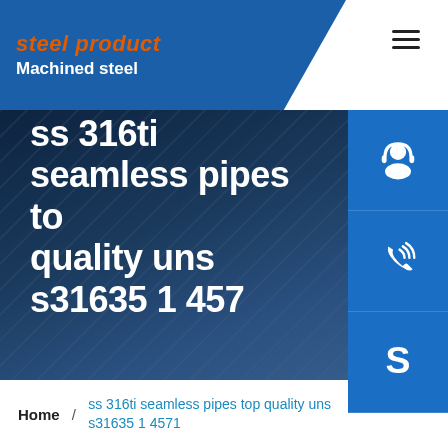steel product Machined steel
ss 316ti seamless pipes top quality uns s31635 1 4571
[Figure (screenshot): Three blue square icon buttons on right side: headset/support icon, phone/call icon, Skype icon]
Home / ss 316ti seamless pipes top quality uns s31635 1 4571
[Figure (photo): Bottom strip showing industrial steel pipes or structural steel elements]